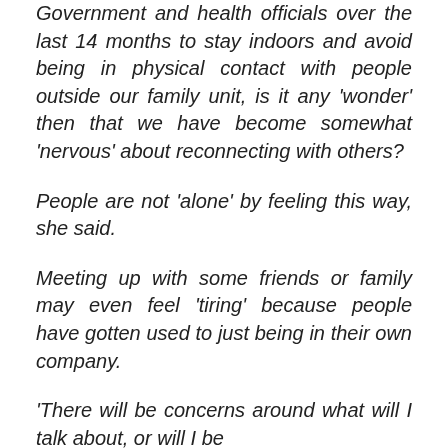Government and health officials over the last 14 months to stay indoors and avoid being in physical contact with people outside our family unit, is it any 'wonder' then that we have become somewhat 'nervous' about reconnecting with others?
People are not 'alone' by feeling this way, she said.
Meeting up with some friends or family may even feel 'tiring' because people have gotten used to just being in their own company.
'There will be concerns around what will I talk about, or will I be